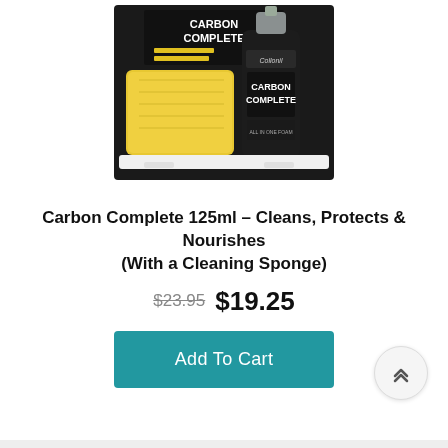[Figure (photo): Product photo of Collonil Carbon Complete 125ml foam cleanser bottle with a yellow cleaning sponge on a black product card packaging]
Carbon Complete 125ml – Cleans, Protects & Nourishes (With a Cleaning Sponge)
$23.95  $19.25
Add To Cart